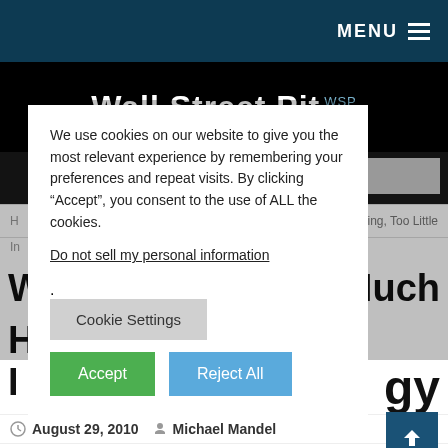MENU
Wall Street Pit WSP
We use cookies on our website to give you the most relevant experience by remembering your preferences and repeat visits. By clicking “Accept”, you consent to the use of ALL the cookies.
Do not sell my personal information.
Cookie Settings
Accept
Reject All
uch Housing, Too Little
W
H
I
o Much
gy
August 29, 2010  Michael Mandel